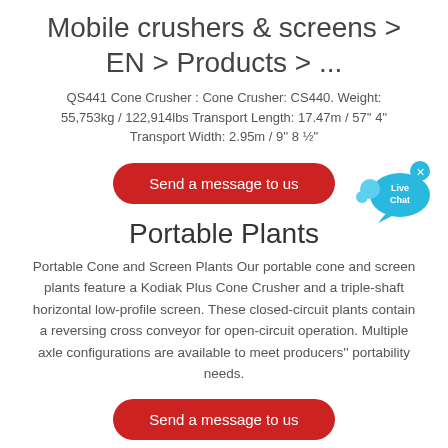Mobile crushers & screens > EN > Products > ...
QS441 Cone Crusher : Cone Crusher: CS440. Weight: 55,753kg / 122,914lbs Transport Length: 17.47m / 57'' 4" Transport Width: 2.95m / 9'' 8 ½"
[Figure (other): Red rounded-rectangle button labeled 'Send a message to us']
[Figure (other): Live Chat bubble widget with blue speech bubbles and 'Live Chat' text and an X close button]
Portable Plants
Portable Cone and Screen Plants Our portable cone and screen plants feature a Kodiak Plus Cone Crusher and a triple-shaft horizontal low-profile screen. These closed-circuit plants contain a reversing cross conveyor for open-circuit operation. Multiple axle configurations are available to meet producers'' portability needs.
[Figure (other): Red rounded-rectangle button labeled 'Send a message to us']